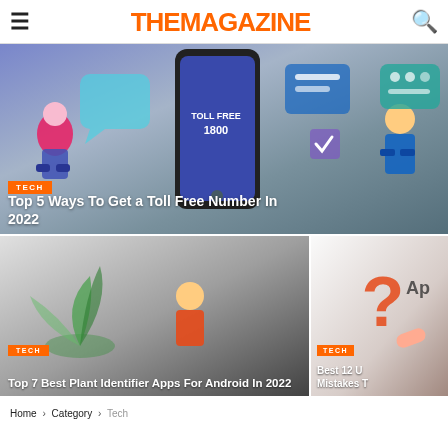THEMAGAZINE
[Figure (illustration): Hero banner showing tech illustration with a smartphone displaying TOLL FREE 1800, people working with tech devices, blue/purple color scheme. TECH category badge. Title: Top 5 Ways To Get a Toll Free Number In 2022]
[Figure (illustration): Card image with gradient background (gray). TECH category badge. Title: Top 7 Best Plant Identifier Apps For Android In 2022]
[Figure (illustration): Card image with light beige background showing question mark and hand. TECH category badge. Title: Best 12 U... Mistakes T...]
Home > Category > Tech